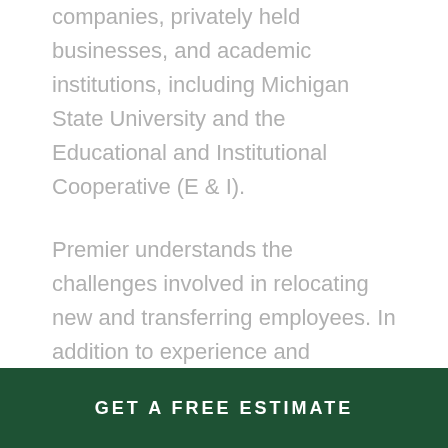companies, privately held businesses, and academic institutions, including Michigan State University and the Educational and Institutional Cooperative (E & I).
Premier understands the challenges involved in relocating new and transferring employees. In addition to experience and expertise, we bring a higher level of excellence to every relocation through proper care of our expansive fleet of moving vans, and through the hiring and retention of qualified van operators.
GET A FREE ESTIMATE